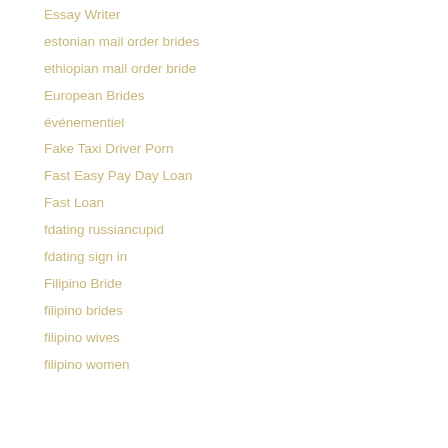Essay Writer
estonian mail order brides
ethiopian mail order bride
European Brides
événementiel
Fake Taxi Driver Porn
Fast Easy Pay Day Loan
Fast Loan
fdating russiancupid
fdating sign in
Filipino Bride
filipino brides
filipino wives
filipino women